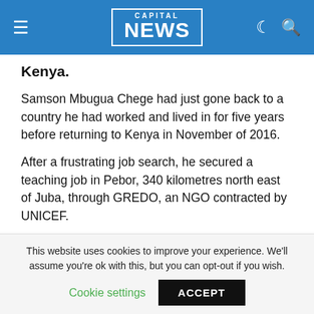CAPITAL NEWS
Kenya.
Samson Mbugua Chege had just gone back to a country he had worked and lived in for five years before returning to Kenya in November of 2016.
After a frustrating job search, he secured a teaching job in Pebor, 340 kilometres north east of Juba, through GREDO, an NGO contracted by UNICEF.
As family and friends gathered at the cargo section of JKIA waiting for the bodies to arrive, his brother Kimani Mbugua says Chege had just gone back to South Sudan
This website uses cookies to improve your experience. We'll assume you're ok with this, but you can opt-out if you wish.
Cookie settings   ACCEPT